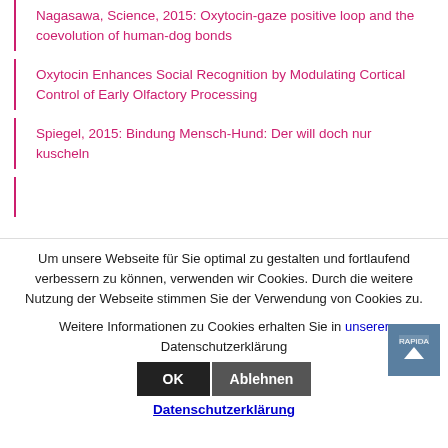Nagasawa, Science, 2015: Oxytocin-gaze positive loop and the coevolution of human-dog bonds
Oxytocin Enhances Social Recognition by Modulating Cortical Control of Early Olfactory Processing
Spiegel, 2015: Bindung Mensch-Hund: Der will doch nur kuscheln
Um unsere Webseite für Sie optimal zu gestalten und fortlaufend verbessern zu können, verwenden wir Cookies. Durch die weitere Nutzung der Webseite stimmen Sie der Verwendung von Cookies zu.
Weitere Informationen zu Cookies erhalten Sie in unserer Datenschutzerklärung
Datenschutzerklärung